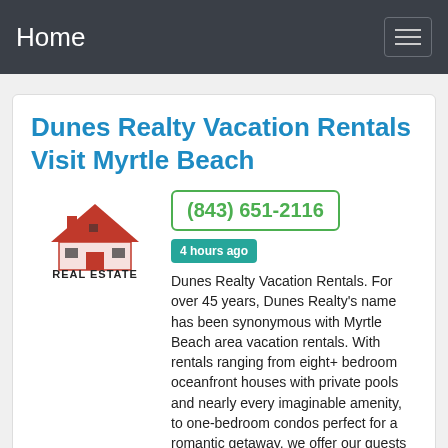Home
Dunes Realty Vacation Rentals Visit Myrtle Beach
[Figure (logo): Real Estate logo with red house/roof icon and text REAL ESTATE below]
(843) 651-2116  4 hours ago  Dunes Realty Vacation Rentals. For over 45 years, Dunes Realty's name has been synonymous with Myrtle Beach area vacation rentals. With rentals ranging from eight+ bedroom oceanfront houses with private pools and nearly every imaginable amenity, to one-bedroom condos perfect for a romantic getaway, we offer our guests an unparalleled selection and ...